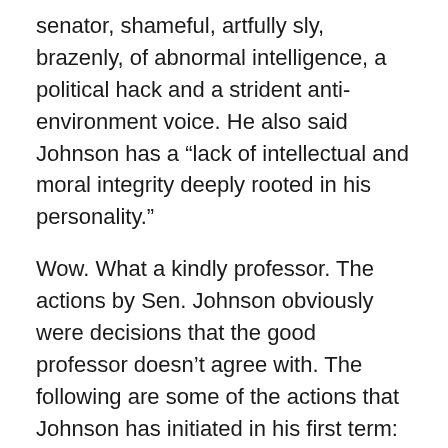senator, shameful, artfully sly, brazenly, of abnormal intelligence, a political hack and a strident anti-environment voice. He also said Johnson has a “lack of intellectual and moral integrity deeply rooted in his personality.”
Wow. What a kindly professor. The actions by Sen. Johnson obviously were decisions that the good professor doesn’t agree with. The following are some of the actions that Johnson has initiated in his first term:
• Had major responsibility for the passage of a bill that enhances the security measures for the waiver program so that citizens from terrorist hotspots are no longer allowed to use the waiver program. As chair of the Committee on Homeland Security and Governmental Relations Affairs, Johnson put together a comprehensive strategy to destroy